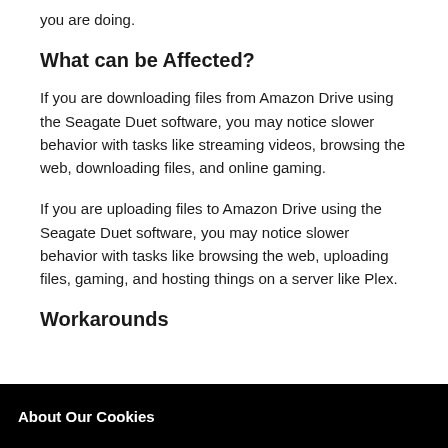you are doing.
What can be Affected?
If you are downloading files from Amazon Drive using the Seagate Duet software, you may notice slower behavior with tasks like streaming videos, browsing the web, downloading files, and online gaming.
If you are uploading files to Amazon Drive using the Seagate Duet software, you may notice slower behavior with tasks like browsing the web, uploading files, gaming, and hosting things on a server like Plex.
Workarounds
About Our Cookies